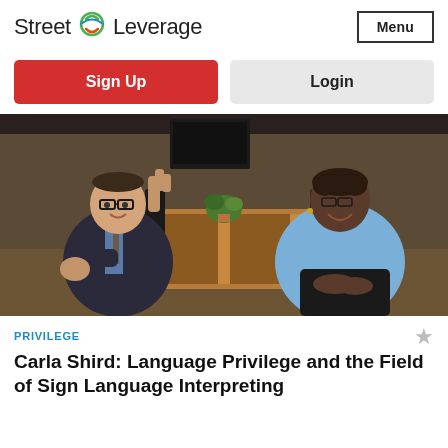Street Leverage
Menu
Sign Up
Login
[Figure (photo): Two people sitting in a conference room. A man on the left wearing a dark suit and glasses is making a hand sign. A woman on the right wearing a light blue blazer is smiling. A long wooden conference table is visible in the background with a plant.]
PRIVILEGE
Carla Shird: Language Privilege and the Field of Sign Language Interpreting